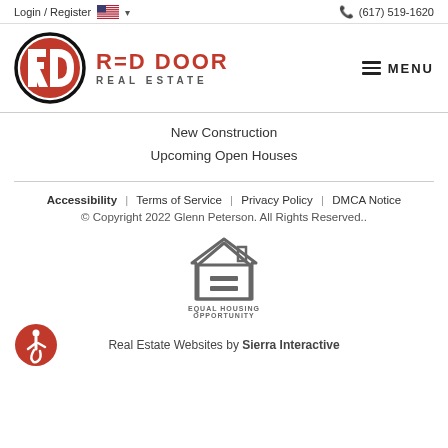Login / Register  (617) 519-1620
[Figure (logo): Red Door Real Estate logo with RD monogram in red circle and black text]
New Construction
Upcoming Open Houses
Accessibility | Terms of Service | Privacy Policy | DMCA Notice
© Copyright 2022 Glenn Peterson. All Rights Reserved..
[Figure (logo): Equal Housing Opportunity logo - house outline with equals sign]
Real Estate Websites by Sierra Interactive